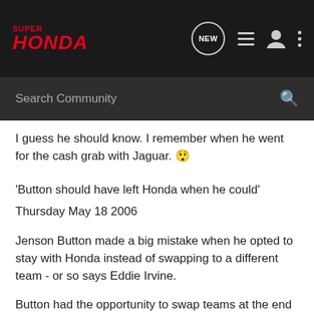Super Honda — navigation bar with logo, NEW, list, user, and dots icons
Search Community
I guess he should know. I remember when he went for the cash grab with Jaguar. 😱
'Button should have left Honda when he could'
Thursday May 18 2006
Jenson Button made a big mistake when he opted to stay with Honda instead of swapping to a different team - or so says Eddie Irvine.
Button had the opportunity to swap teams at the end of last year when he bought himself out of his Williams contract.